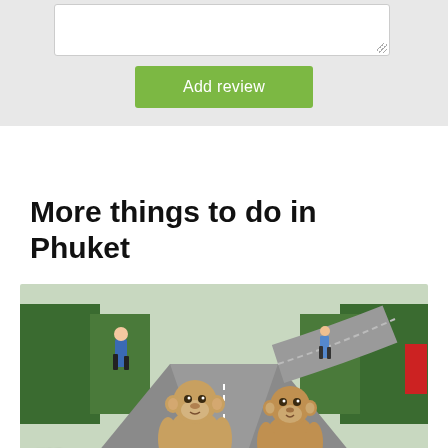[Figure (screenshot): A text area input field (white box with resize handle) on a grey background]
Add review
More things to do in Phuket
[Figure (photo): Two monkeys sitting on a road in Phuket with a winding road and trees in the background, a person jogging in the distance. Badge showing #18 in bottom-left corner.]